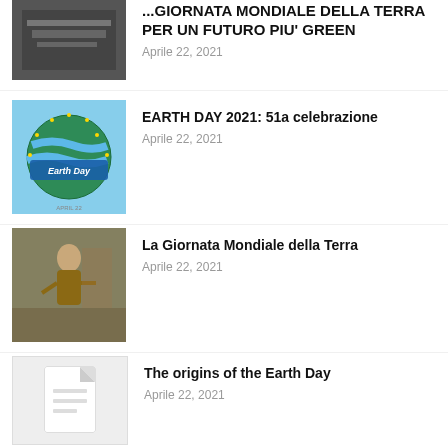GIORNATA MONDIALE DELLA TERRA PER UN FUTURO PIU' GREEN — Aprile 22, 2021
EARTH DAY 2021: 51a celebrazione — Aprile 22, 2021
La Giornata Mondiale della Terra — Aprile 22, 2021
The origins of the Earth Day — Aprile 22, 2021
Earth-Day e l'Artistico di Cefalù — Aprile 22, 2021